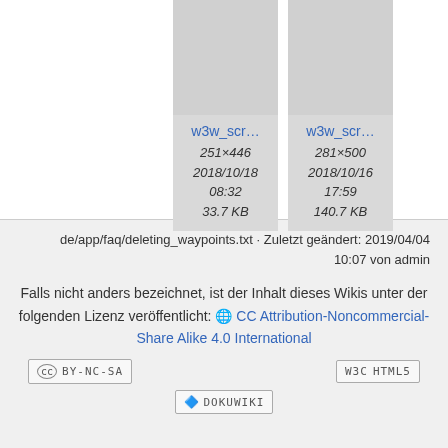[Figure (screenshot): Two file thumbnail cards side by side. Left card: w3w_scr... 251×446, 2018/10/18 08:32, 33.7 KB. Right card: w3w_scr... 281×500, 2018/10/16 17:59, 140.7 KB. Both have gray thumbnail area on top.]
de/app/faq/deleting_waypoints.txt · Zuletzt geändert: 2019/04/04 10:07 von admin
Falls nicht anders bezeichnet, ist der Inhalt dieses Wikis unter der folgenden Lizenz veröffentlicht: 🌐 CC Attribution-Noncommercial-Share Alike 4.0 International
[Figure (logo): CC BY-NC-SA badge]
[Figure (logo): WSC HTML5 badge]
[Figure (logo): DokuWiki badge]